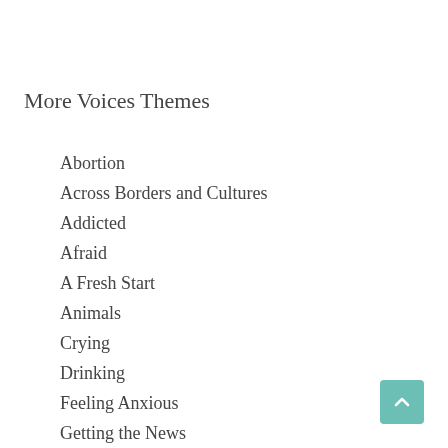More Voices Themes
Abortion
Across Borders and Cultures
Addicted
Afraid
A Fresh Start
Animals
Crying
Drinking
Feeling Anxious
Getting the News
Guns